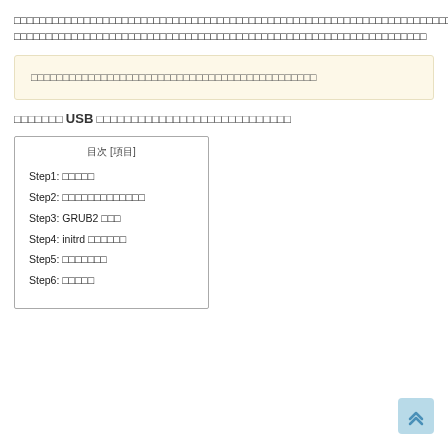□□□□□□□□□□□□□□□□□□□□□□□□□□□□□□□□□□□□□□□□□□□□□□□□□□□□□□□□□□□□□□□□□□□□□□□□□□□□□□□□□□□□□□□□□□□□□□□□□□□□□□□□□□□□□□□□□□□□□□□□□□□□□□□□□□□□□□□□□□□□□□□□□□□□□□□□□□□□□□□□□□□□□□□□□□□□□□□□□□□□□□□□□□□□□□□□
□□□□□□□□□□□□□□□□□□□□□□□□□□□□□□□□□□□□□□□□□□□□□□□□□□□□□□□□□□□□□□
□□□□□□□□□□□□□□□□□□□□□□□□□□□□□□□□□□□□□□□□□□
□□□□□□□ USB □□□□□□□□□□□□□□□□□□□□□□□□□□□□
| 目次 [項目] |
| --- |
| Step1: □□□□□ |
| Step2: □□□□□□□□□□□□□ |
| Step3: GRUB2 □□□ |
| Step4: initrd □□□□□□ |
| Step5: □□□□□□□ |
| Step6: □□□□□ |